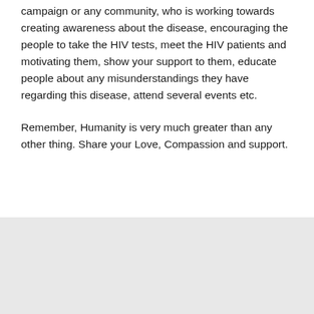campaign or any community, who is working towards creating awareness about the disease, encouraging the people to take the HIV tests, meet the HIV patients and motivating them, show your support to them, educate people about any misunderstandings they have regarding this disease, attend several events etc.
Remember, Humanity is very much greater than any other thing. Share your Love, Compassion and support.